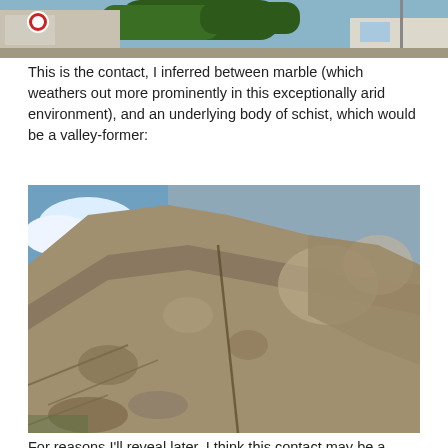[Figure (photo): Partial view of a street scene with trees, buildings, and a blue sky - top portion of a landscape photo]
This is the contact, I inferred between marble (which weathers out more prominently in this exceptionally arid environment), and an underlying body of schist, which would be a valley-former:
[Figure (photo): Large rocky outcrop showing geological contact between marble and schist formations, with visible foliation and rock layering under a partly cloudy sky]
For reasons I'll reveal later, I think this contact may be a fault.
[Figure (photo): Bottom portion of another rocky outcrop photo, partially visible at bottom of page]